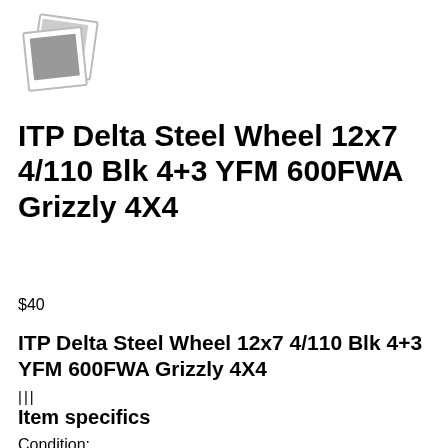[Figure (illustration): Placeholder photo icon — two overlapping polaroid-style photo frames with a grey square inside]
ITP Delta Steel Wheel 12x7 4/110 Blk 4+3 YFM 600FWA Grizzly 4X4
$40
ITP Delta Steel Wheel 12x7 4/110 Blk 4+3 YFM 600FWA Grizzly 4X4
|||
Item specifics
Condition: